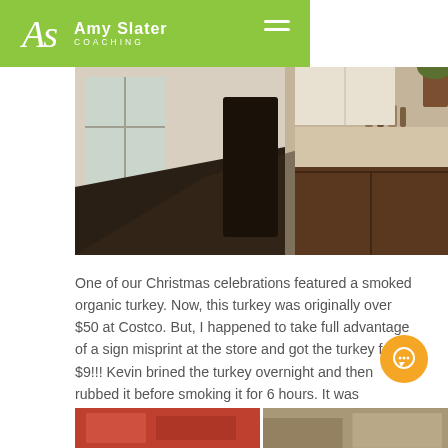Amy Slater Coaching
[Figure (photo): Kitchen interior photo showing a dark dining table in foreground, white cabinetry with glass door panels, and a marble kitchen counter with dark wood cabinets and shelves with condiments in background.]
One of our Christmas celebrations featured a smoked organic turkey. Now, this turkey was originally over $50 at Costco. But, I happened to take full advantage of a sign misprint at the store and got the turkey for $9!!! Kevin brined the turkey overnight and then rubbed it before smoking it for 6 hours. It was excellent!
[Figure (photo): Bottom strip showing partial thumbnail images of food/kitchen scenes.]